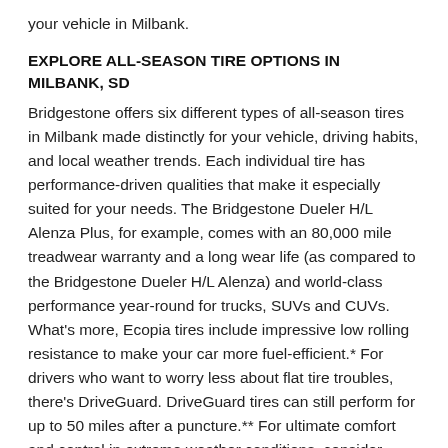your vehicle in Milbank.
EXPLORE ALL-SEASON TIRE OPTIONS IN MILBANK, SD
Bridgestone offers six different types of all-season tires in Milbank made distinctly for your vehicle, driving habits, and local weather trends. Each individual tire has performance-driven qualities that make it especially suited for your needs. The Bridgestone Dueler H/L Alenza Plus, for example, comes with an 80,000 mile treadwear warranty and a long wear life (as compared to the Bridgestone Dueler H/L Alenza) and world-class performance year-round for trucks, SUVs and CUVs. What's more, Ecopia tires include impressive low rolling resistance to make your car more fuel-efficient.* For drivers who want to worry less about flat tire troubles, there's DriveGuard. DriveGuard tires can still perform for up to 50 miles after a puncture.** For ultimate comfort and control in extreme weather conditions, consider Turanza tires. Find year-round reliability in this versatile car tire that delights with a